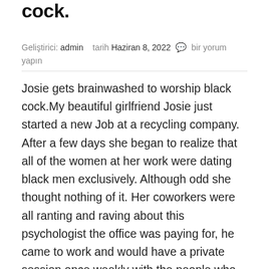cock.
Geliştirici: admin   tarih Haziran 8, 2022  💬  bir yorum yapın
Josie gets brainwashed to worship black cock.My beautiful girlfriend Josie just started a new Job at a recycling company. After a few days she began to realize that all of the women at her work were dating black men exclusively. Although odd she thought nothing of it. Her coworkers were all ranting and raving about this psychologist the office was paying for, he came to work and would have a private session once weekly with the people who sighned up. Josie wasn't feeling the need but the other women in the office were insistent that his sessions were the****utic and besides you get to